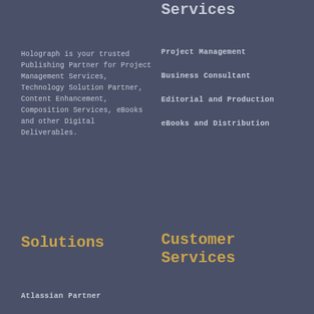Services
Holograph is your trusted Publishing Partner for Project Management Services, Technology Solution Partner, Content Enhancement, Composition Services, eBooks and other Digital Deliverables.
Project Management
Business Consultant
Editorial and Production
eBooks and Distribution
Solutions
Customer Services
Atlassian Partner